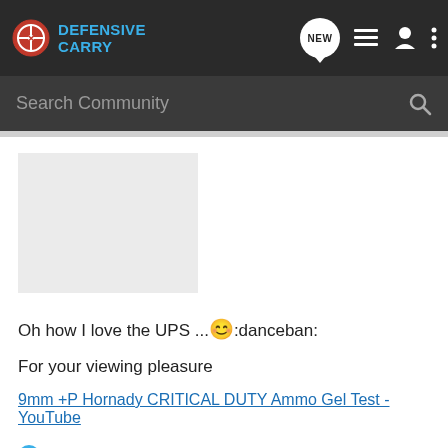Defensive Carry — navigation bar with logo, NEW button, list icon, user icon, more icon
Search Community
[Figure (photo): Gray placeholder image/advertisement block]
Oh how I love the UPS ... 😊:danceban:
For your viewing pleasure
9mm +P Hornady CRITICAL DUTY Ammo Gel Test - YouTube
Drgnfly